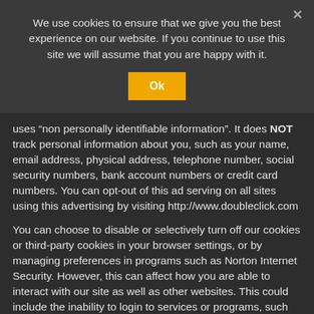We use cookies to ensure that we give you the best experience on our website. If you continue to use this site we will assume that you are happy with it.
Ok
uses “non personally identifiable information”. It does NOT track personal information about you, such as your name, email address, physical address, telephone number, social security numbers, bank account numbers or credit card numbers. You can opt-out of this ad serving on all sites using this advertising by visiting http://www.doubleclick.com
You can choose to disable or selectively turn off our cookies or third-party cookies in your browser settings, or by managing preferences in programs such as Norton Internet Security. However, this can affect how you are able to interact with our site as well as other websites. This could include the inability to login to services or programs, such as logging into forums or accounts.
Deleting cookies does not mean you are permanently